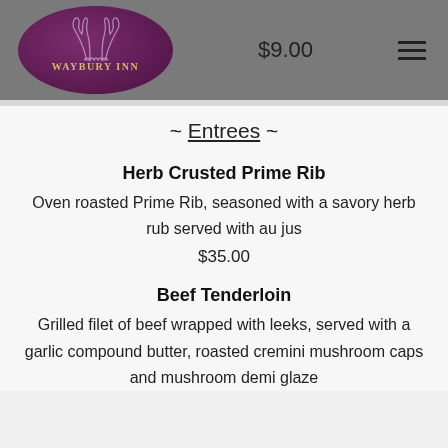[Figure (logo): Waybury Inn logo: dark purple oval with antler illustration and gold text reading WAYBURY INN]
$9.00
~ Entrees ~
Herb Crusted Prime Rib
Oven roasted Prime Rib, seasoned with a savory herb rub served with au jus
$35.00
Beef Tenderloin
Grilled filet of beef wrapped with leeks, served with a garlic compound butter, roasted cremini mushroom caps and mushroom demi glaze